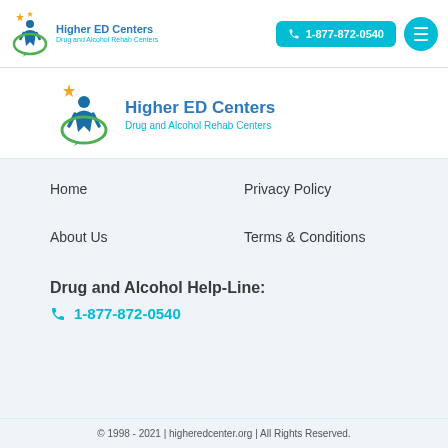Higher ED Centers | Drug and Alcohol Rehab Centers | 1-877-872-0540
[Figure (logo): Higher ED Centers logo with figure and speech bubble icon, second instance larger]
Home
Privacy Policy
About Us
Terms & Conditions
Drug and Alcohol Help-Line:
1-877-872-0540
© 1998 - 2021 | higheredcenter.org | All Rights Reserved.